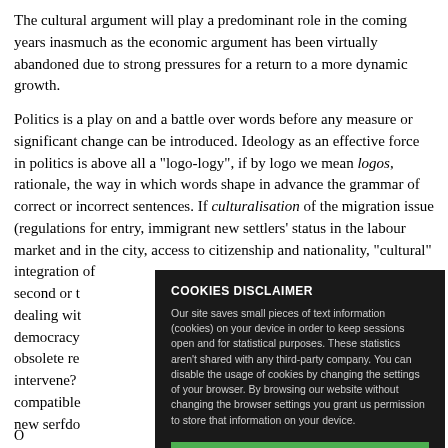The cultural argument will play a predominant role in the coming years inasmuch as the economic argument has been virtually abandoned due to strong pressures for a return to a more dynamic growth.
Politics is a play on and a battle over words before any measure or significant change can be introduced. Ideology as an effective force in politics is above all a "logo-logy", if by logo we mean logos, rationale, the way in which words shape in advance the grammar of correct or incorrect sentences. If culturalisation of the migration issue (regulations for entry, immigrant new settlers' status in the labour market and in the city, access to citizenship and nationality, "cultural" integration of second or t... dealing with... democracy... obsolete re... intervene? compatible... new serfdo...
COOKIES DISCLAIMER
Our site saves small pieces of text information (cookies) on your device in order to keep sessions open and for statistical purposes. These statistics aren't shared with any third-party company. You can disable the usage of cookies by changing the settings of your browser. By browsing our website without changing the browser settings you grant us permission to store that information on your device.
I AGREE
O